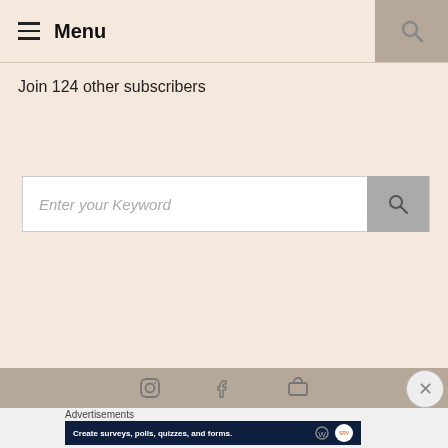≡ Menu
Join 124 other subscribers
Enter your Keyword
Advertisements
[Figure (screenshot): Advertisement banner: Create surveys, polls, quizzes, and forms. Dark navy background with WordPress logo and brand circle icon.]